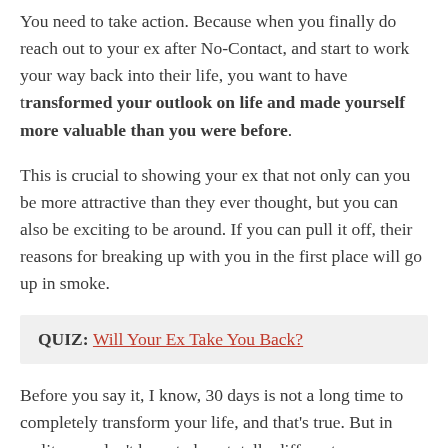You need to take action. Because when you finally do reach out to your ex after No-Contact, and start to work your way back into their life, you want to have transformed your outlook on life and made yourself more valuable than you were before.
This is crucial to showing your ex that not only can you be more attractive than they ever thought, but you can also be exciting to be around. If you can pull it off, their reasons for breaking up with you in the first place will go up in smoke.
QUIZ: Will Your Ex Take You Back?
Before you say it, I know, 30 days is not a long time to completely transform your life, and that's true. But in reality you don't have to be a totally different person when they see you again. You just need to be headed in a positive direction, and have a better